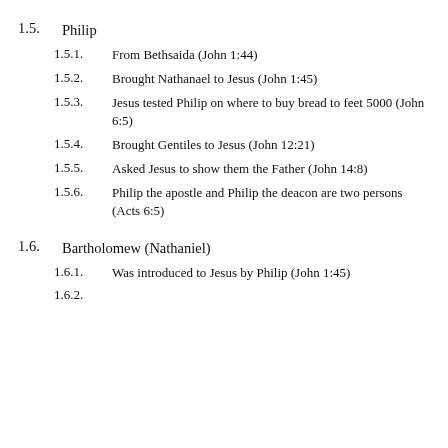1.5.   Philip
1.5.1.   From Bethsaida (John 1:44)
1.5.2.   Brought Nathanael to Jesus (John 1:45)
1.5.3.   Jesus tested Philip on where to buy bread to feet 5000 (John 6:5)
1.5.4.   Brought Gentiles to Jesus (John 12:21)
1.5.5.   Asked Jesus to show them the Father (John 14:8)
1.5.6.   Philip the apostle and Philip the deacon are two persons (Acts 6:5)
1.6.   Bartholomew (Nathaniel)
1.6.1.   Was introduced to Jesus by Philip (John 1:45)
1.6.2.   [partially visible]